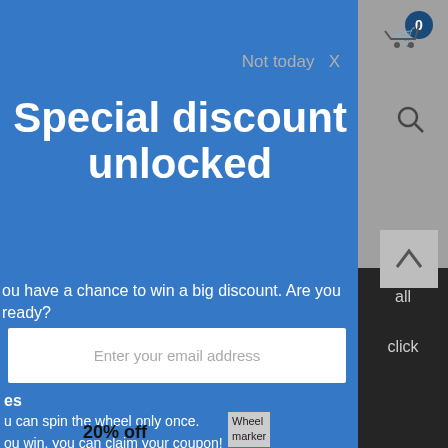Not today  X
Special discount unlocked
ou have a chance to win a big discount. Are you ready?
Enter your email address
TRY YOUR LUCK
es
u can spin the wheel only once.
ou win, you can claim your coupon!
20% off
[Figure (illustration): Wheel marker icon/image placeholder]
all
click